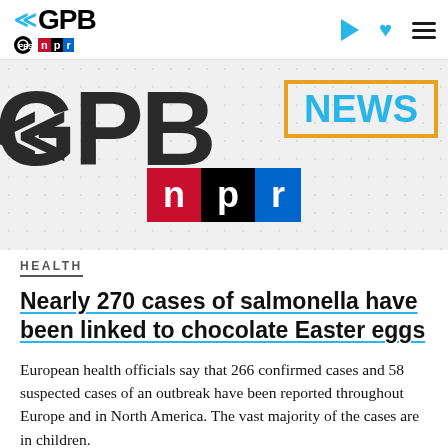[Figure (logo): GPB logo with PBS and NPR partner logos in navigation bar]
[Figure (screenshot): Banner image showing large GPB text with NEWS box and NPR logo on dotted background]
HEALTH
Nearly 270 cases of salmonella have been linked to chocolate Easter eggs
European health officials say that 266 confirmed cases and 58 suspected cases of an outbreak have been reported throughout Europe and in North America. The vast majority of the cases are in children.